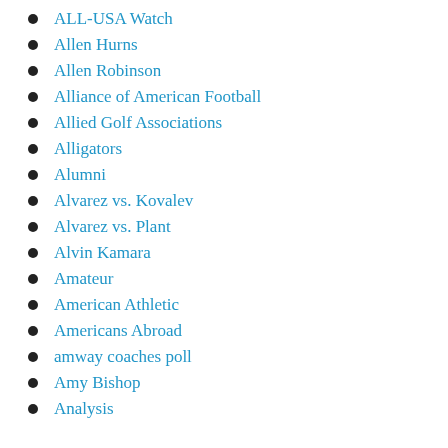ALL-USA Watch
Allen Hurns
Allen Robinson
Alliance of American Football
Allied Golf Associations
Alligators
Alumni
Alvarez vs. Kovalev
Alvarez vs. Plant
Alvin Kamara
Amateur
American Athletic
Americans Abroad
amway coaches poll
Amy Bishop
Analysis